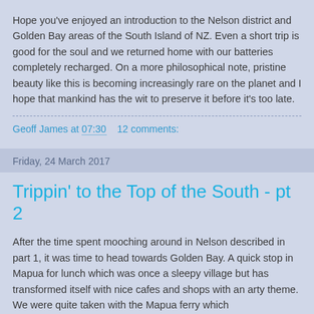Hope you've enjoyed an introduction to the Nelson district and Golden Bay areas of the South Island of NZ.  Even a short trip is good for the soul and we returned home with our batteries completely recharged.  On a more philosophical note, pristine beauty like this is becoming increasingly rare on the planet and I hope that mankind has the wit to preserve it before it's too late.
Geoff James at 07:30    12 comments:
Friday, 24 March 2017
Trippin' to the Top of the South - pt 2
After the time spent mooching around in Nelson described in part 1, it was time to head towards Golden Bay.  A quick stop in Mapua for lunch which was once a sleepy village but has transformed itself with nice cafes and shops with an arty theme.  We were quite taken with the Mapua ferry which